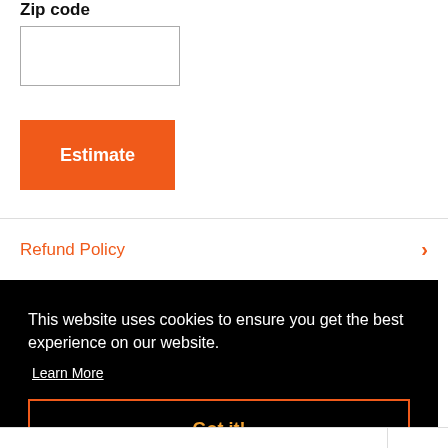Zip code
Estimate
Refund Policy
This website uses cookies to ensure you get the best experience on our website.
Learn More
Got it!